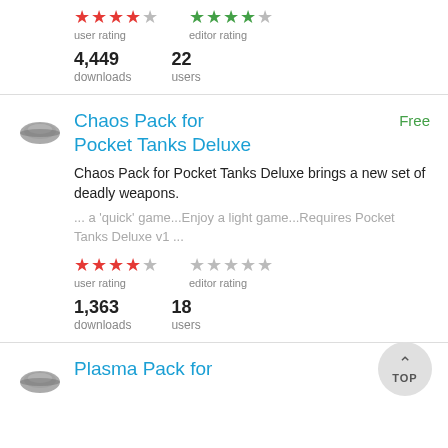user rating / editor rating (stars)
4,449 downloads   22 users
Chaos Pack for Pocket Tanks Deluxe   Free
Chaos Pack for Pocket Tanks Deluxe brings a new set of deadly weapons.
... a 'quick' game...Enjoy a light game...Requires Pocket Tanks Deluxe v1 ...
user rating (4 stars red) / editor rating (0 stars gray)
1,363 downloads   18 users
Plasma Pack for   Free